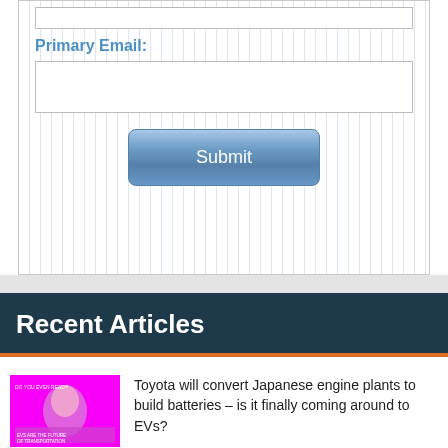Primary Email:
[Figure (screenshot): Web form with Primary Email label, email input field, and a Submit button]
Recent Articles
[Figure (illustration): Thumbnail image for Toyota EV article - pink background with cartoon character]
Toyota will convert Japanese engine plants to build batteries – is it finally coming around to EVs?
[Figure (photo): Thumbnail image for stocks article - dark background with person]
We were mostly buyers during this turbulent week for stocks. Here's a recap of all our trades